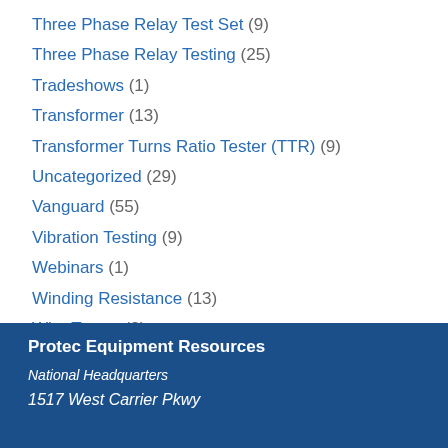Three Phase Relay Test Set (9)
Three Phase Relay Testing (25)
Tradeshows (1)
Transformer (13)
Transformer Turns Ratio Tester (TTR) (9)
Uncategorized (29)
Vanguard (55)
Vibration Testing (9)
Webinars (1)
Winding Resistance (13)
Wire Tracer (2)
Protec Equipment Resources
National Headquarters
1517 West Carrier Pkwy